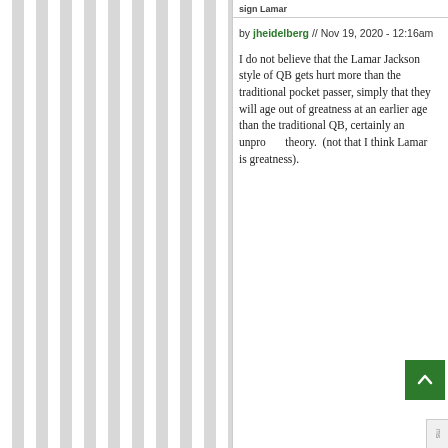sign Lamar
by jheidelberg // Nov 19, 2020 - 12:16am
I do not believe that the Lamar Jackson style of QB gets hurt more than the traditional pocket passer, simply that they will age out of greatness at an earlier age than the traditional QB, certainly an unproven theory.  (not that I think Lamar is greatness).